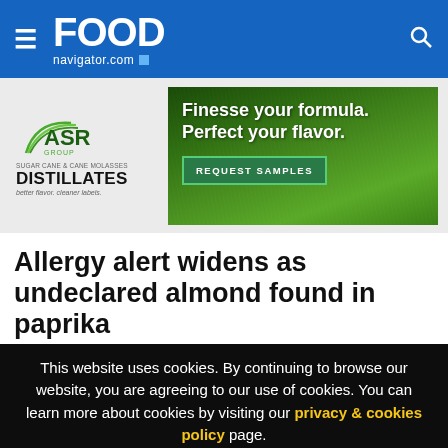FOOD navigator.com
[Figure (illustration): ASR Group Distillates advertisement banner with text 'Finesse your formula. Perfect your flavor.' and REQUEST SAMPLES button on green grass background]
Allergy alert widens as undeclared almond found in paprika
This website uses cookies. By continuing to browse our website, you are agreeing to our use of cookies. You can learn more about cookies by visiting our privacy & cookies policy page.